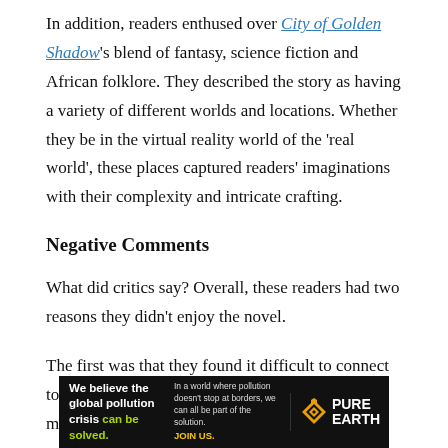In addition, readers enthused over City of Golden Shadow's blend of fantasy, science fiction and African folklore. They described the story as having a variety of different worlds and locations. Whether they be in the virtual reality world of the 'real world', these places captured readers' imaginations with their complexity and intricate crafting.
Negative Comments
What did critics say? Overall, these readers had two reasons they didn't enjoy the novel.
The first was that they found it difficult to connect to the characters, typically because there were many.
[Figure (infographic): Advertisement banner for Pure Earth: 'We believe the global pollution crisis can be solved.' with tagline about pollution not stopping at borders and call to action 'JOIN US.']